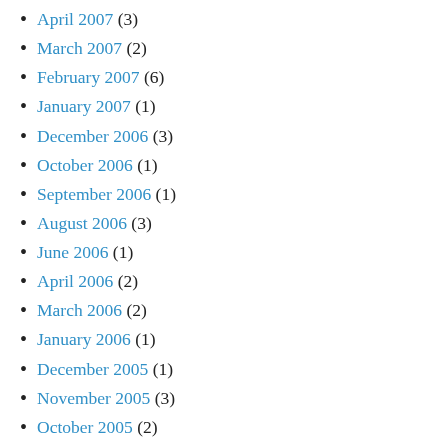April 2007 (3)
March 2007 (2)
February 2007 (6)
January 2007 (1)
December 2006 (3)
October 2006 (1)
September 2006 (1)
August 2006 (3)
June 2006 (1)
April 2006 (2)
March 2006 (2)
January 2006 (1)
December 2005 (1)
November 2005 (3)
October 2005 (2)
September 2005 (5)